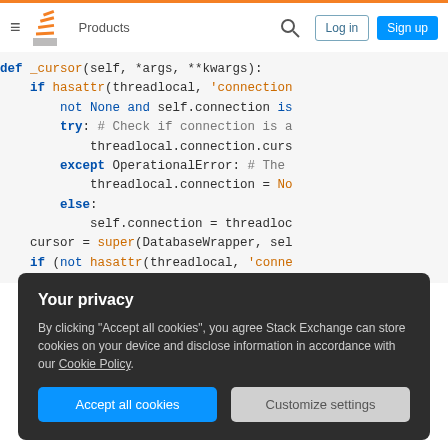Products | Stack Overflow - Log in / Sign up
[Figure (screenshot): Stack Overflow navigation bar with hamburger menu, logo, Products link, search icon, Log in and Sign up buttons]
def _cursor(self, *args, **kwargs):
    if hasattr(threadlocal, 'connection
        not None and self.connection is
        try: # Check if connection is a
            threadlocal.connection.curs
        except OperationalError: # The
            threadlocal.connection = No
        else:
            self.connection = threadloc
    cursor = super(DatabaseWrapper, sel
    if (not hasattr(threadlocal, 'conne
            is None) and self.connection i
        threadlocal.connection = self.c
    return cursor
Your privacy
By clicking "Accept all cookies", you agree Stack Exchange can store cookies on your device and disclose information in accordance with our Cookie Policy.
Accept all cookies | Customize settings